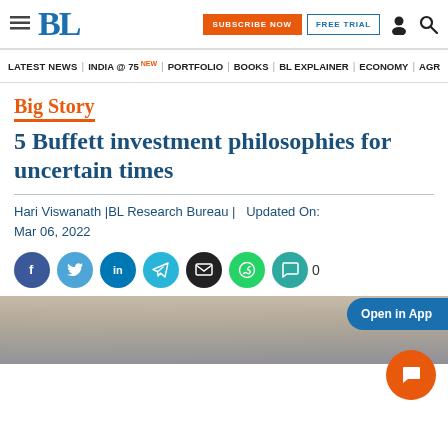BL — Business Line site header with hamburger menu, BL logo, SUBSCRIBE NOW button, FREE TRIAL button, user icon, search icon
LATEST NEWS | INDIA @ 75 NEW | PORTFOLIO | BOOKS | BL EXPLAINER | ECONOMY | AGR
Big Story
5 Buffett investment philosophies for uncertain times
Hari Viswanath |BL Research Bureau |   Updated On: Mar 06, 2022
[Figure (screenshot): Social sharing buttons row: Facebook, Twitter, LinkedIn, Telegram, Email, WhatsApp, Comment (0)]
[Figure (photo): Partial photo at bottom of page showing blurred elderly hands, blue background]